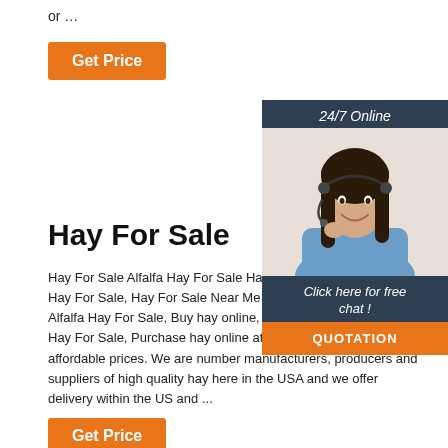or …
Get Price
[Figure (photo): 24/7 Online chat widget with a woman wearing a headset, dark background, with 'Click here for free chat!' text and an orange QUOTATION button]
Hay For Sale
Hay For Sale Alfalfa Hay For Sale Hay Bales For Sale Near Me Hay For Sale, Hay For Sale Near Me Hay Bales For Sale, Alfalfa Hay For Sale, Buy hay online, Buy hay online, Timothy Hay For Sale, Purchase hay online at PrimeHayFarms.org at affordable prices. We are number manufacturers, producers and suppliers of high quality hay here in the USA and we offer delivery within the US and ...
Get Price